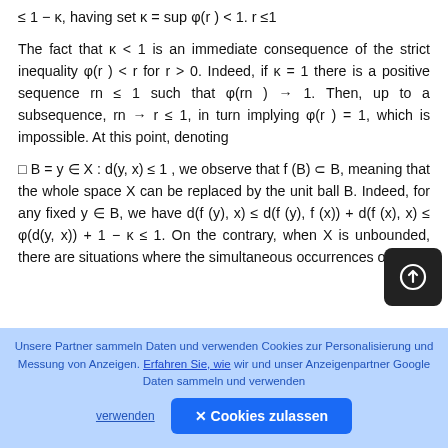≤ 1 − κ, having set κ = sup φ(r ) < 1. r ≤1
The fact that κ < 1 is an immediate consequence of the strict inequality φ(r ) < r for r > 0. Indeed, if κ = 1 there is a positive sequence rn ≤ 1 such that φ(rn ) → 1. Then, up to a subsequence, rn → r ≤ 1, in turn implying φ(r ) = 1, which is impossible. At this point, denoting
□ B = y ∈ X : d(y, x) ≤ 1 , we observe that f (B) ⊂ B, meaning that the whole space X can be replaced by the unit ball B. Indeed, for any fixed y ∈ B, we have d(f (y), x) ≤ d(f (y), f (x)) + d(f (x), x) ≤ φ(d(y, x)) + 1 − κ ≤ 1. On the contrary, when X is unbounded, there are situations where the simultaneous occurrences of